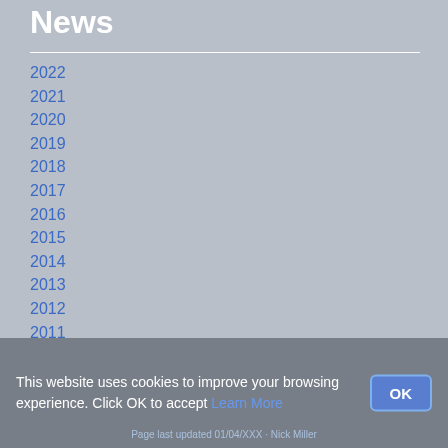News
2022
2021
2020
2019
2018
2017
2016
2015
2014
2013
2012
2011
2010
2009
2008
This website uses cookies to improve your browsing experience. Click OK to accept Learn More